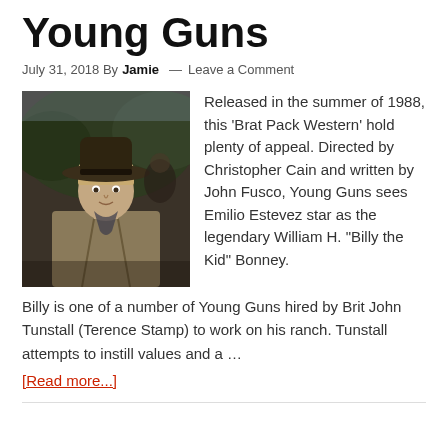Young Guns
July 31, 2018 By Jamie — Leave a Comment
[Figure (photo): A young man wearing a wide-brimmed cowboy hat and a tan jacket, with other figures visible in the background, in a scene from the movie Young Guns.]
Released in the summer of 1988, this 'Brat Pack Western' hold plenty of appeal. Directed by Christopher Cain and written by John Fusco, Young Guns sees Emilio Estevez star as the legendary William H. "Billy the Kid" Bonney. Billy is one of a number of Young Guns hired by Brit John Tunstall (Terence Stamp) to work on his ranch. Tunstall attempts to instill values and a … [Read more...]